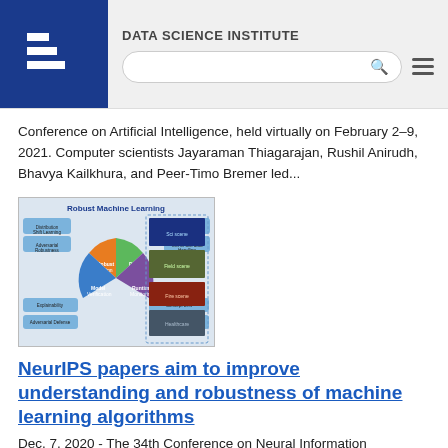DATA SCIENCE INSTITUTE
Conference on Artificial Intelligence, held virtually on February 2–9, 2021. Computer scientists Jayaraman Thiagarajan, Rushil Anirudh, Bhavya Kailkhura, and Peer-Timo Bremer led...
[Figure (infographic): Robust Machine Learning infographic showing a circular diagram with four colored segments (orange, green, blue, purple) labeled with machine learning concepts, alongside a column of scientific images on the right.]
NeurIPS papers aim to improve understanding and robustness of machine learning algorithms
Dec. 7, 2020 - The 34th Conference on Neural Information Processing Systems (NeurIPS) is featuring two papers advancing the reliability of deep learning for mission-critical